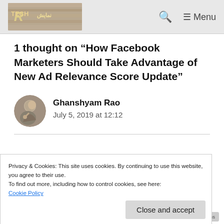Tech [logo] — Menu
1 thought on “How Facebook Marketers Should Take Advantage of New Ad Relevance Score Update”
Ghanshyam Rao
July 5, 2019 at 12:12
Privacy & Cookies: This site uses cookies. By continuing to use this website, you agree to their use.
To find out more, including how to control cookies, see here:
Cookie Policy
Close and accept
Thanks for the post.
Privacy · Terms